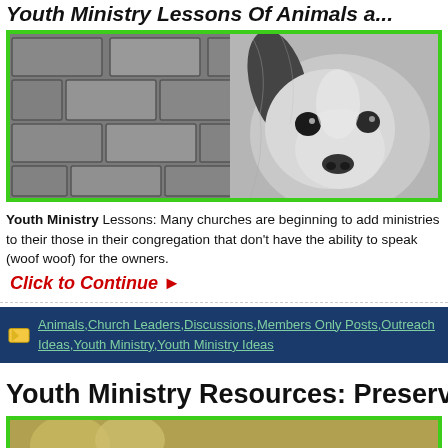Youth Ministry Lessons Of Animals a...
[Figure (photo): Black and white photo of cobblestone pavement on the left and a close-up of a Collie/Sheltie dog face on the right]
Youth Ministry Lessons: Many churches are beginning to add ministries to their those in their congregation that don't have the ability to speak (woof woof) for the owners.
Click to Continue ▶
Animals, Church Leaders, Discussions, Members Only Posts, Outreach Ideas, Youth Ministry, Youth Ministry Ideas
Youth Ministry Resources: Preserved
[Figure (photo): Partial view of another image with green border at bottom of page]